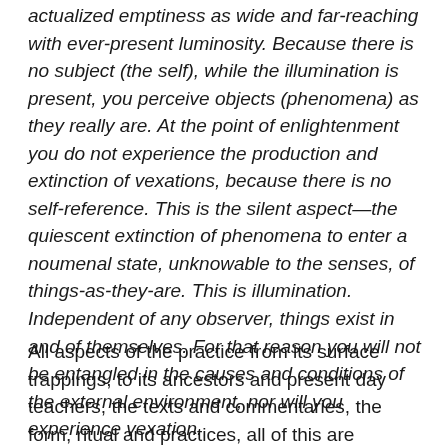actualized emptiness as wide and far-reaching with ever-present luminosity. Because there is no subject (the self), while the illumination is present, you perceive objects (phenomena) as they really are. At the point of enlightenment you do not experience the production and extinction of vexations, because there is no self-reference. This is the silent aspect—the quiescent extinction of phenomena to enter a noumenal state, unknowable to the senses, of things-as-they-are. This is illumination. Independent of any observer, things exist in and of themselves. For that reason you will not be entangled in the causes and conditions of the external environment, nor will you experience vexation.
All aspects of the practice from its surface trappings, to its ancestors and present day teachers, the texts and commentaries, the form, ritual and practices, all of this are